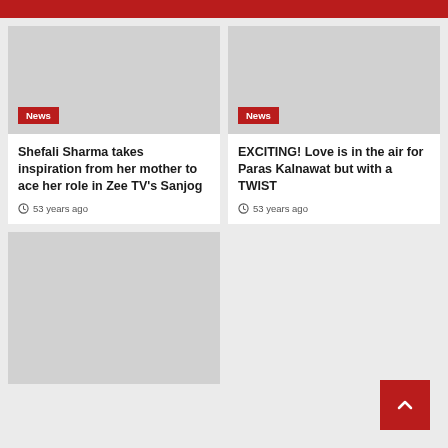[Figure (photo): Gray placeholder image for Shefali Sharma article with News badge]
Shefali Sharma takes inspiration from her mother to ace her role in Zee TV's Sanjog
53 years ago
[Figure (photo): Gray placeholder image for Paras Kalnawat article with News badge]
EXCITING! Love is in the air for Paras Kalnawat but with a TWIST
53 years ago
[Figure (photo): Gray placeholder image bottom left card]
[Figure (photo): Gray placeholder image bottom right area]